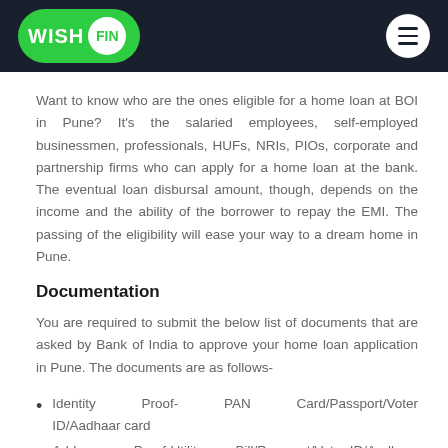WISH FIN
Want to know who are the ones eligible for a home loan at BOI in Pune? It's the salaried employees, self-employed businessmen, professionals, HUFs, NRIs, PIOs, corporate and partnership firms who can apply for a home loan at the bank. The eventual loan disbursal amount, though, depends on the income and the ability of the borrower to repay the EMI. The passing of the eligibility will ease your way to a dream home in Pune.
Documentation
You are required to submit the below list of documents that are asked by Bank of India to approve your home loan application in Pune. The documents are as follows-
Identity Proof- PAN Card/Passport/Voter ID/Aadhaar card
Address Proof-Utility Bill/Passport/Voter ID/Aadhaar Card